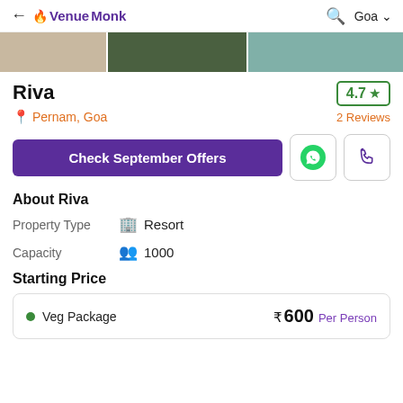← VenueMonk  🔍 Goa ∨
[Figure (photo): Photo strip showing three venue images side by side]
Riva
4.7 ★
📍 Pernam, Goa
2 Reviews
Check September Offers
About Riva
Property Type   🏢 Resort
Capacity   👥 1000
Starting Price
• Veg Package   ₹ 600 Per Person